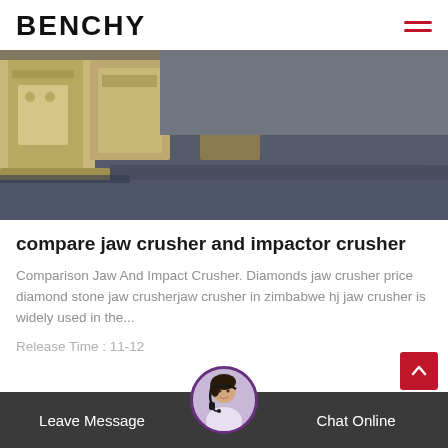BENCHY
[Figure (photo): Industrial jaw crusher equipment on a concrete floor, yellowish metal frames visible]
compare jaw crusher and impactor crusher
Comparison Jaw And Impact Crusher. Diamonds jaw crusher price diamond stone jaw crusherjaw crusher in zimbabwe hj jaw crusher is widely used in the...
Release Time : 11-12